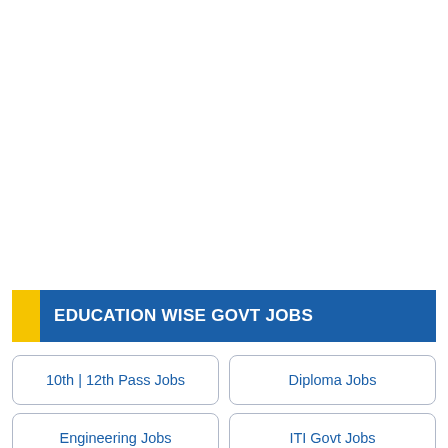EDUCATION WISE GOVT JOBS
10th | 12th Pass Jobs
Diploma Jobs
Engineering Jobs
ITI Govt Jobs
PWD Govt Jobs